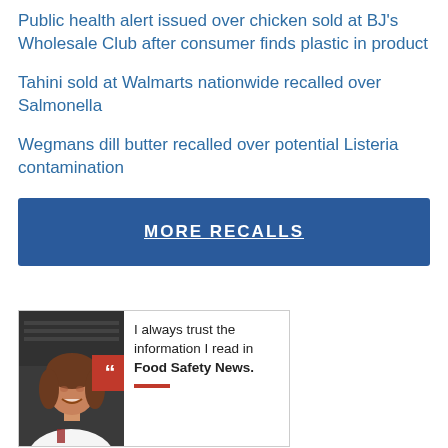Public health alert issued over chicken sold at BJ's Wholesale Club after consumer finds plastic in product
Tahini sold at Walmarts nationwide recalled over Salmonella
Wegmans dill butter recalled over potential Listeria contamination
MORE RECALLS
[Figure (photo): Testimonial card with a woman in a white coat smiling, quote badge, and text: I always trust the information I read in Food Safety News.]